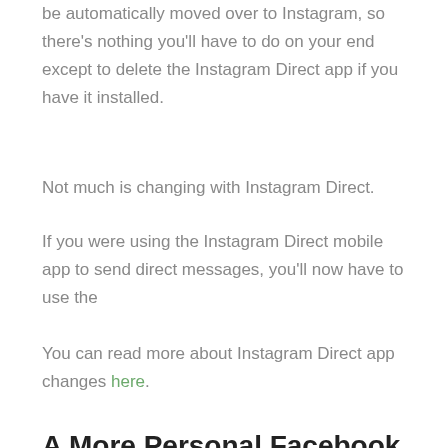be automatically moved over to Instagram, so there's nothing you'll have to do on your end except to delete the Instagram Direct app if you have it installed.
Not much is changing with Instagram Direct.
If you were using the Instagram Direct mobile app to send direct messages, you'll now have to use the
You can read more about Instagram Direct app changes here.
A More Personal Facebook News Feed
In Facebook news, they are making your news feed more personal.